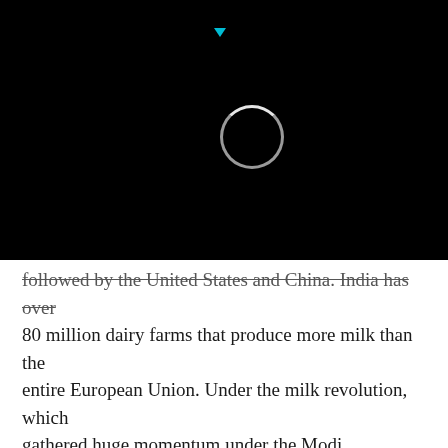[Figure (screenshot): Black header area with a loading spinner circle and a small cyan triangle/arrow indicator at the top]
followed by the United States and China. India has over 80 million dairy farms that produce more milk than the entire European Union. Under the milk revolution, which gathered huge momentum under the Modi government, milk production in India today is 50% higher than that in the US and almost 300% higher than that in China. Milk has never been a part of the MSP, so that should tell a lot about the relevance of MSP!
Be that as it may, the Modi government in 2018 increased the MSP at 1.5 times the production cost, which is the chief determinant of MSP today. This is based on the recommendations of the Swaminathan Commission and National Commission of Farmers, 2006,